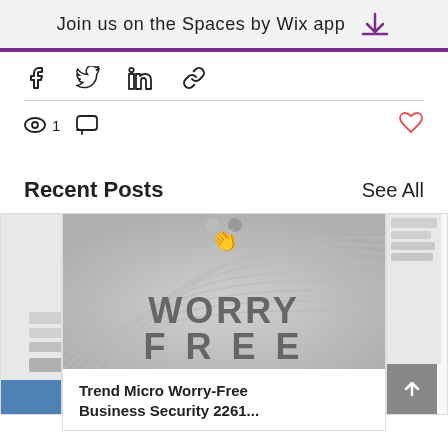Join us on the Spaces by Wix app
[Figure (screenshot): Social share icons: Facebook, Twitter, LinkedIn, link]
[Figure (screenshot): Stats row: 1 view, comment icon, heart/like icon]
Recent Posts
See All
[Figure (screenshot): Post thumbnail showing WORRY FREE text in large gray letters on a silver swirled background]
Trend Micro Worry-Free Business Security 2261...